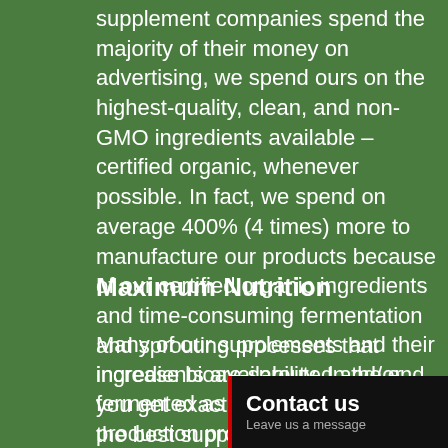supplement companies spend the majority of their money on advertising, we spend ours on the highest-quality, clean, and non-GMO ingredients available – certified organic, whenever possible. In fact, we spend on average 400% (4 times) more to manufacture our products because of our certified organic ingredients and time-consuming fermentation and sprouting processes that increase bioavailability. In the end, you get exactly what you pay for – the best supplements on the market.
Maximum Nutrition
Many of our supplements and their ingredients are sprouted and/or fermented as part of the production process. You've likely heard about the gut health benefits of eating fermented foods, but did you know that fermentation also he…
Contact us
Leave us a message